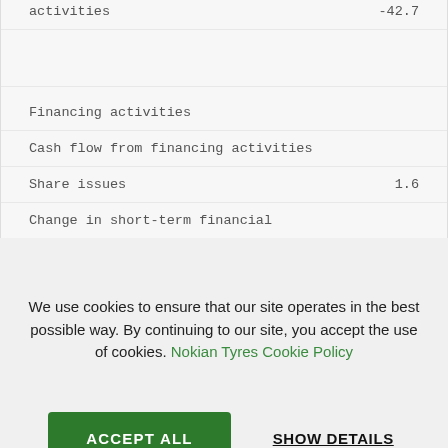| activities | -42.7 |
| Financing activities |  |
| Cash flow from financing activities |  |
| Share issues | 1.6 |
| Change in short-term financial |  |
We use cookies to ensure that our site operates in the best possible way. By continuing to our site, you accept the use of cookies. Nokian Tyres Cookie Policy
ACCEPT ALL
SHOW DETAILS